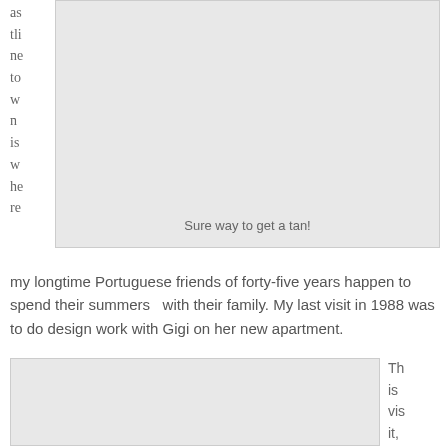as tli ne to w n is w he re
[Figure (photo): A photo placeholder (light gray box) showing a beach or outdoor scene. Caption: Sure way to get a tan!]
Sure way to get a tan!
my longtime Portuguese friends of forty-five years happen to spend their summers  with their family. My last visit in 1988 was to do design work with Gigi on her new apartment.
[Figure (photo): A photo placeholder (light gray box) showing a scene from a visit.]
Th is vis it,